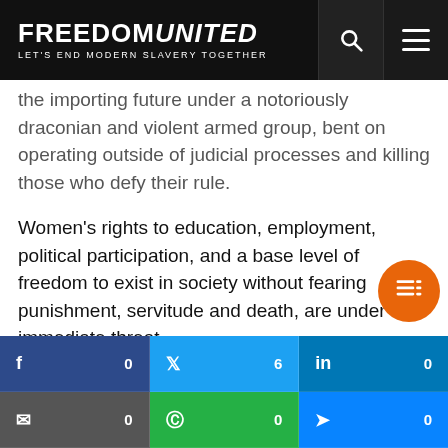FREEDOM UNITED — LET'S END MODERN SLAVERY TOGETHER
the importing future under a notoriously draconian and violent armed group, bent on operating outside of judicial processes and killing those who defy their rule.
Women's rights to education, employment, political participation, and a base level of freedom to exist in society without fearing punishment, servitude and death, are under immediate threat.
For women and girls, a future under Taliban rule is terrifying. It has been 20 years since the Taliban were last in power, in which time women have fought hard to enjoy certain rights, all while risking their lives.